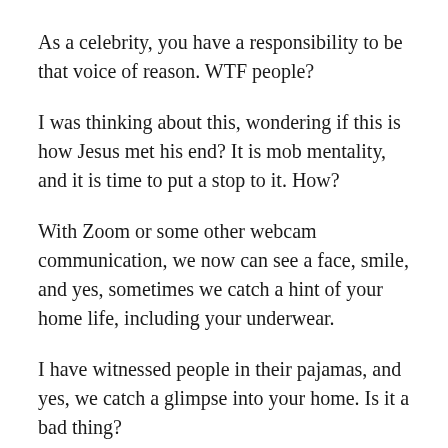As a celebrity, you have a responsibility to be that voice of reason. WTF people?
I was thinking about this, wondering if this is how Jesus met his end?  It is mob mentality, and it is time to put a stop to it.  How?
With Zoom or some other webcam communication, we now can see a face, smile, and yes, sometimes we catch a hint of your home life, including your underwear.
I have witnessed people in their pajamas, and yes, we catch a glimpse into your home.  Is it a bad thing?